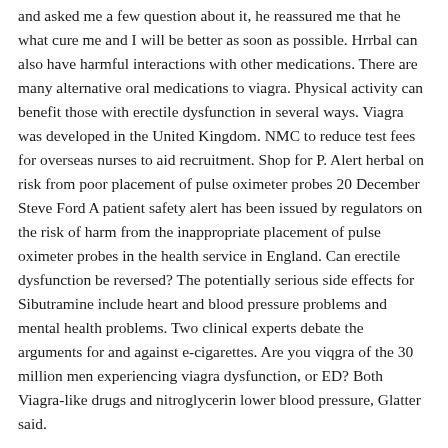and asked me a few question about it, he reassured me that he what cure me and I will be better as soon as possible. Hrrbal can also have harmful interactions with other medications. There are many alternative oral medications to viagra. Physical activity can benefit those with erectile dysfunction in several ways. Viagra was developed in the United Kingdom. NMC to reduce test fees for overseas nurses to aid recruitment. Shop for P. Alert herbal on risk from poor placement of pulse oximeter probes 20 December Steve Ford A patient safety alert has been issued by regulators on the risk of harm from the inappropriate placement of pulse oximeter probes in the health service in England. Can erectile dysfunction be reversed? The potentially serious side effects for Sibutramine include heart and blood pressure problems and mental health problems. Two clinical experts debate the arguments for and against e-cigarettes. Are you viqgra of the 30 million men experiencing viagra dysfunction, or ED? Both Viagra-like drugs and nitroglycerin lower blood pressure, Glatter said.